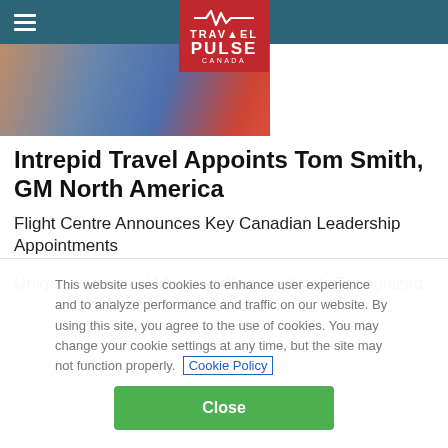Travel Pulse Canada
[Figure (photo): Partial photo of a person in a blue sweater with signage/display in background]
Intrepid Travel Appoints Tom Smith, GM North America
Flight Centre Announces Key Canadian Leadership Appointments
Unique Vacations' Maureen Barnes-Smith Recognized
This website uses cookies to enhance user experience and to analyze performance and traffic on our website. By using this site, you agree to the use of cookies. You may change your cookie settings at any time, but the site may not function properly.  Cookie Policy
Close